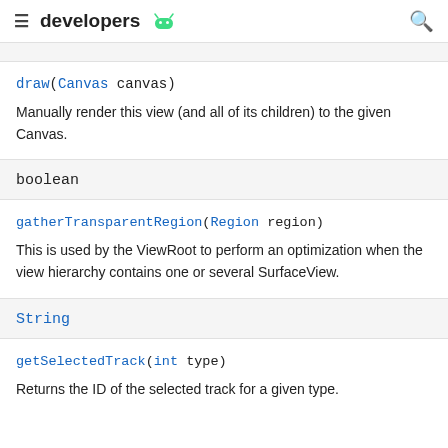developers
draw(Canvas canvas)
Manually render this view (and all of its children) to the given Canvas.
boolean
gatherTransparentRegion(Region region)
This is used by the ViewRoot to perform an optimization when the view hierarchy contains one or several SurfaceView.
String
getSelectedTrack(int type)
Returns the ID of the selected track for a given type.